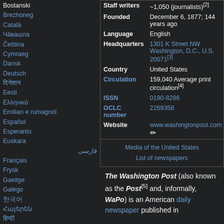Bostanski
Brezhoneg
Català
Чăвашла
Čeština
Cymraeg
Dansk
Deutsch
दिनेशान
Eesti
Ελληνικά
Emilian e rumagnòl
Español
Esperanto
Euskara
فارسی
Français
Frysk
Gaeilge
Galego
한국어
Հայերեն
हिन्दी
Hrvatski
| Field | Value |
| --- | --- |
| Staff writers | ~1,050 (journalists)[2] |
| Founded | December 6, 1877; 144 years ago |
| Language | English |
| Headquarters | 1301 K Street NW Washington, D.C., U.S. 20071[3] |
| Country | United States |
| Circulation | 159,040 Average print circulation[4] |
| ISSN | 0190-8286 |
| OCLC number | 2269358 |
| Website | www.washingtonpost.com |
Media of the United States · List of newspapers
The Washington Post (also known as the Post[5] and, informally, WaPo) is an American daily newspaper published in